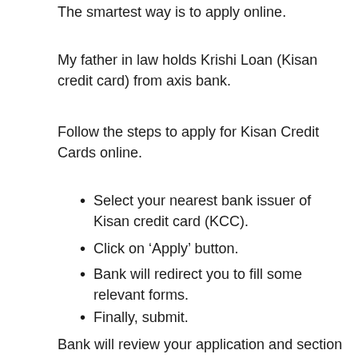The smartest way is to apply online.
My father in law holds Krishi Loan (Kisan credit card) from axis bank.
Follow the steps to apply for Kisan Credit Cards online.
Select your nearest bank issuer of Kisan credit card (KCC).
Click on ‘Apply’ button.
Bank will redirect you to fill some relevant forms.
Finally, submit.
Bank will review your application and section KCC and limit according to the credentials.